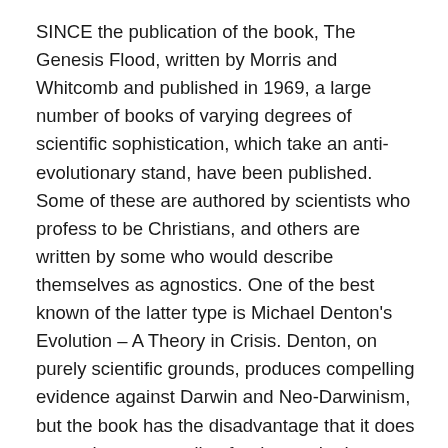SINCE the publication of the book, The Genesis Flood, written by Morris and Whitcomb and published in 1969, a large number of books of varying degrees of scientific sophistication, which take an anti-evolutionary stand, have been published. Some of these are authored by scientists who profess to be Christians, and others are written by some who would describe themselves as agnostics. One of the best known of the latter type is Michael Denton's Evolution – A Theory in Crisis. Denton, on purely scientific grounds, produces compelling evidence against Darwin and Neo-Darwinism, but the book has the disadvantage that it does not make easy reading for those who have had no training in the natural sciences. The book currently under review is written by a scientist who is a professing Christian and, in the opinion of the present reviewer, provides an excellent introduction to the powerful scientific arguments against evolution which are currently